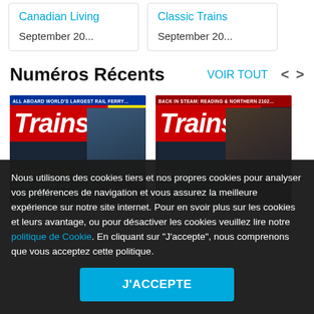Canadian Living
September 20...
Classic Trains
September 20...
Numéros Récents
VOIR TOUT  <  >
[Figure (photo): Trains magazine cover – All Aboard World's Largest Rail Ferry, Sunset Route, Golden State Medley]
[Figure (photo): Trains magazine cover – Back in Steam Reading & Northern 2102, Pacific, Harbor]
September 2022
Nous utilisons des cookies tiers et nos propres cookies pour analyser vos préférences de navigation et vous assurez la meilleure expérience sur notre site internet. Pour en svoir plus sur les cookies et leurs avantage, ou pour désactiver les cookies veuillez lire notre politique de Cookie. En cliquant sur "J'accepte", nous comprenons que vous acceptez cette politique.
J'ACCEPTE